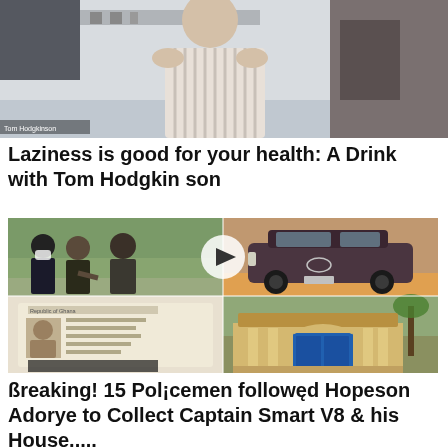[Figure (photo): Man in striped shirt seated indoors, photo caption reads 'Tom Hodgkinson']
Laziness is good for your health: A Drink with Tom Hodgkinson
[Figure (photo): 2x2 grid of news photos: top-left shows group of people with police, top-center shows man being interviewed with police, top-right shows Toyota SUV, bottom-left shows Ghana ID card, bottom-right shows large house/mansion]
ßreaking! 15 Pol¡cemen followęd Hopeson Adorye to Collect Captain Smart V8 & his House.....